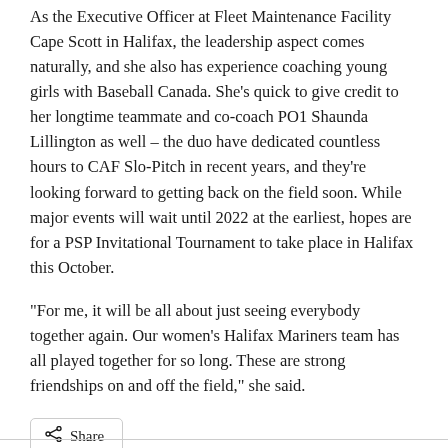As the Executive Officer at Fleet Maintenance Facility Cape Scott in Halifax, the leadership aspect comes naturally, and she also has experience coaching young girls with Baseball Canada. She’s quick to give credit to her longtime teammate and co-coach PO1 Shaunda Lillington as well – the duo have dedicated countless hours to CAF Slo-Pitch in recent years, and they’re looking forward to getting back on the field soon. While major events will wait until 2022 at the earliest, hopes are for a PSP Invitational Tournament to take place in Halifax this October.
“For me, it will be all about just seeing everybody together again. Our women’s Halifax Mariners team has all played together for so long. These are strong friendships on and off the field,” she said.
[Figure (other): Share button with share icon]